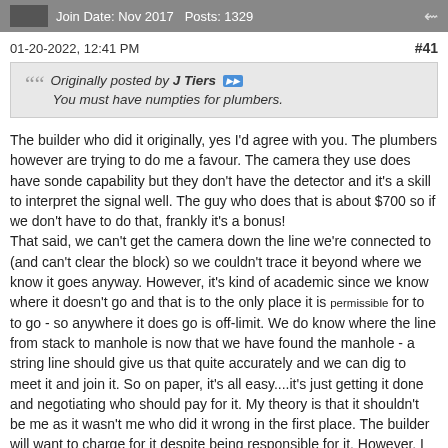Join Date: Nov 2017   Posts: 1329
01-20-2022, 12:41 PM   #41
Originally posted by J Tiers
You must have numpties for plumbers.
The builder who did it originally, yes I'd agree with you. The plumbers however are trying to do me a favour. The camera they use does have sonde capability but they don't have the detector and it's a skill to interpret the signal well. The guy who does that is about $700 so if we don't have to do that, frankly it's a bonus!
That said, we can't get the camera down the line we're connected to (and can't clear the block) so we couldn't trace it beyond where we know it goes anyway. However, it's kind of academic since we know where it doesn't go and that is to the only place it is permissible for to to go - so anywhere it does go is off-limit. We do know where the line from stack to manhole is now that we have found the manhole - a string line should give us that quite accurately and we can dig to meet it and join it. So on paper, it's all easy....it's just getting it done and negotiating who should pay for it. My theory is that it shouldn't be me as it wasn't me who did it wrong in the first place. The builder will want to charge for it despite being responsible for it. However, I suspect that the result will end up somewhere in between. As long as it's less than getting someone else to do it - and it'll be less than taking it legal, regardless. I should caveat that by saying that I want him to do the digging and making good but the actual plumbing part of it ....not so much!